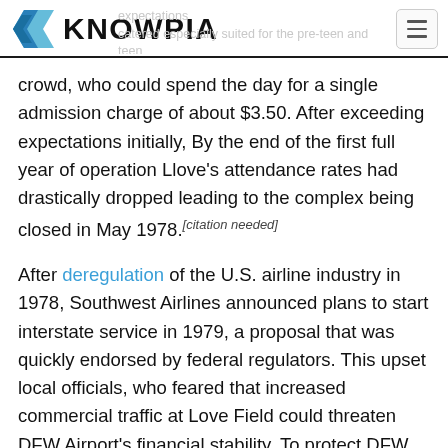KNOWPIA
crowd, who could spend the day for a single admission charge of about $3.50. After exceeding expectations initially, By the end of the first full year of operation Llove’s attendance rates had drastically dropped leading to the complex being closed in May 1978. [citation needed]
After deregulation of the U.S. airline industry in 1978, Southwest Airlines announced plans to start interstate service in 1979, a proposal that was quickly endorsed by federal regulators. This upset local officials, who feared that increased commercial traffic at Love Field could threaten DFW Airport's financial stability. To protect DFW Airport from significant competition Love Field, Fort Worth-based U.S. Representative